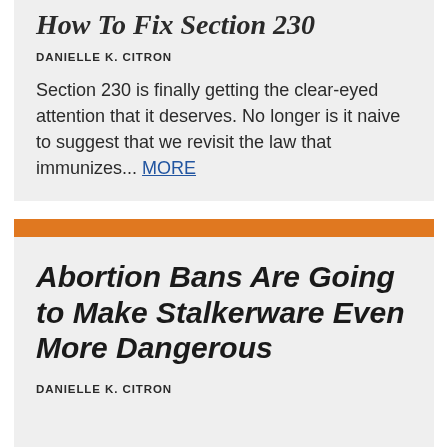How To Fix Section 230
DANIELLE K. CITRON
Section 230 is finally getting the clear-eyed attention that it deserves. No longer is it naive to suggest that we revisit the law that immunizes... MORE
Abortion Bans Are Going to Make Stalkerware Even More Dangerous
DANIELLE K. CITRON